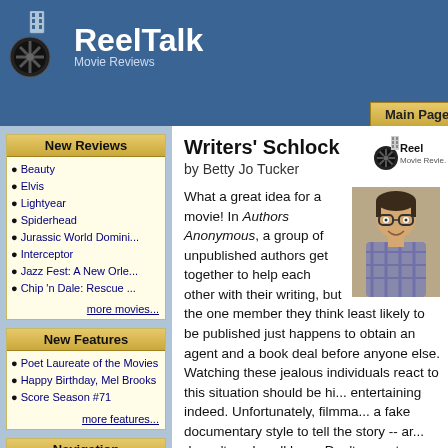[Figure (logo): ReelTalk Movie Reviews logo with film reel icon, white text on blue header background]
Main Page | Movies | Features | Lo...
New Reviews
Beauty
Elvis
Lightyear
Spiderhead
Jurassic World Domini...
Interceptor
Jazz Fest: A New Orle...
Chip 'n Dale: Rescue ...
more movies...
New Features
Poet Laureate of the Movies
Happy Birthday, Mel Brooks
Score Season #71
more features...
Navigation
ReelTalk Home Page
Movies
Features
Forum
Search
Contests
Writers' Schlock
by Betty Jo Tucker
[Figure (logo): ReelTalk Movie Reviews small logo]
[Figure (photo): Photo of a man with glasses and a plaid shirt, smiling]
What a great idea for a movie! In Authors Anonymous, a group of unpublished authors get together to help each other with their writing, but the one member they think least likely to be published just happens to obtain an agent and a book deal before anyone else. Watching these jealous individuals react to this situation should be hi... entertaining indeed. Unfortunately, filmma... a fake documentary style to tell the story -- ar... doesn't work well here. Don't expect anyth... to a Christopher Guest mockumentary like Be... Show or Waiting for Guffman.